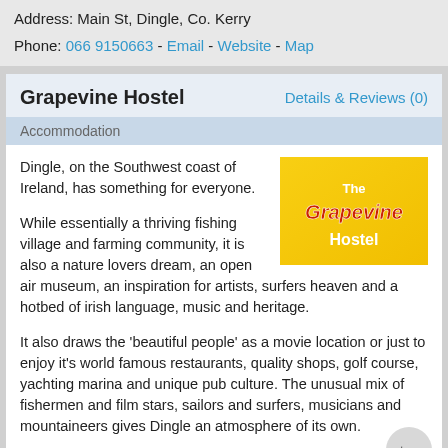Address: Main St, Dingle, Co. Kerry
Phone: 066 9150663 - Email - Website - Map
Grapevine Hostel
Details & Reviews (0)
Accommodation
[Figure (logo): The Grapevine Hostel logo — yellow background with red and white stylized text reading 'The Grapevine Hostel']
Dingle, on the Southwest coast of Ireland, has something for everyone.
While essentially a thriving fishing village and farming community, it is also a nature lovers dream, an open air museum, an inspiration for artists, surfers heaven and a hotbed of irish language, music and heritage.
It also draws the 'beautiful people' as a movie location or just to enjoy it's world famous restaurants, quality shops, golf course, yachting marina and unique pub culture. The unusual mix of fishermen and film stars, sailors and surfers, musicians and mountaineers gives Dingle an atmosphere of its own.